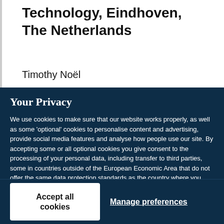Technology, Eindhoven, The Netherlands
Timothy Noël
Your Privacy
We use cookies to make sure that our website works properly, as well as some 'optional' cookies to personalise content and advertising, provide social media features and analyse how people use our site. By accepting some or all optional cookies you give consent to the processing of your personal data, including transfer to third parties, some in countries outside of the European Economic Area that do not offer the same data protection standards as the country where you live. You can decide which optional cookies to accept by clicking on 'Manage Settings', where you can also find more information about how your personal data is processed. Further information can be found in our privacy policy.
Accept all cookies
Manage preferences